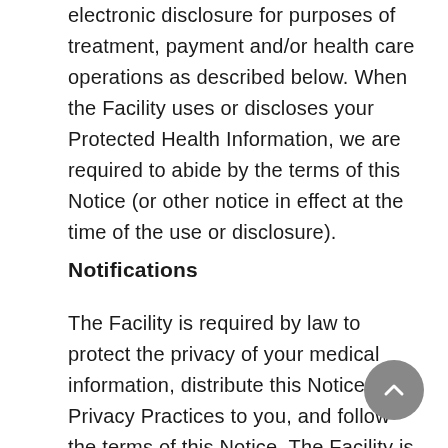electronic disclosure for purposes of treatment, payment and/or health care operations as described below. When the Facility uses or discloses your Protected Health Information, we are required to abide by the terms of this Notice (or other notice in effect at the time of the use or disclosure).
Notifications
The Facility is required by law to protect the privacy of your medical information, distribute this Notice of Privacy Practices to you, and follow the terms of this Notice. The Facility is also required to notify you if there is a breach or impermissible access, use or disclosure of your medical information.